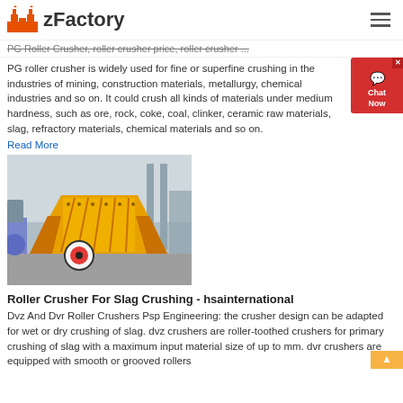zFactory
PG Roller Crusher, roller crusher price, roller crusher ...
PG roller crusher is widely used for fine or superfine crushing in the industries of mining, construction materials, metallurgy, chemical industries and so on. It could crush all kinds of materials under medium hardness, such as ore, rock, coke, coal, clinker, ceramic raw materials, slag, refractory materials, chemical materials and so on.
Read More
[Figure (photo): Yellow roller crusher machine in a factory setting]
Roller Crusher For Slag Crushing - hsainternational
Dvz And Dvr Roller Crushers Psp Engineering: the crusher design can be adapted for wet or dry crushing of slag. dvz crushers are roller-toothed crushers for primary crushing of slag with a maximum input material size of up to mm. dvr crushers are equipped with smooth or grooved rollers